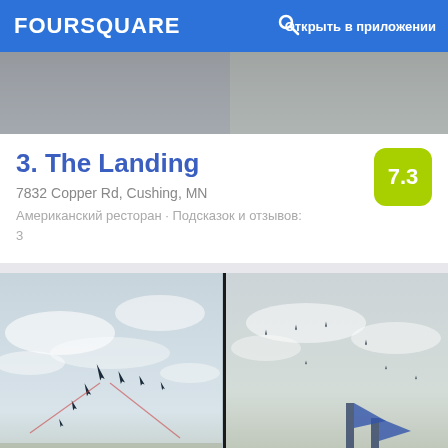FOURSQUARE  🔍  Открыть в приложении
[Figure (photo): Partial photo of a place, top of listing card for The Landing]
3. The Landing
7832 Copper Rd, Cushing, MN
Американский ресторан · Подсказок и отзывов: 3
[Figure (photo): Two side-by-side photos showing military jet aircraft performing aerial display at Minnesota Air Spectacular 2012]
4. Minnesota Air Spectacular 2012
3030 N Airport Rd, Манкейто, MN